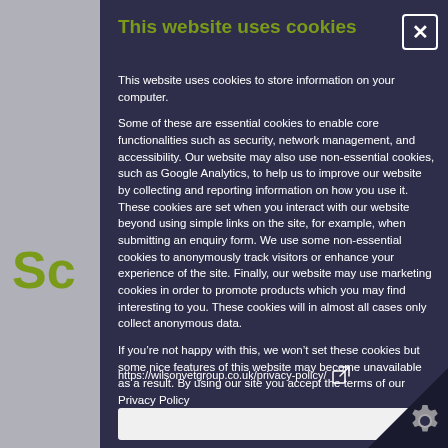This website uses cookies
This website uses cookies to store information on your computer.
Some of these are essential cookies to enable core functionalities such as security, network management, and accessibility. Our website may also use non-essential cookies, such as Google Analytics, to help us to improve our website by collecting and reporting information on how you use it. These cookies are set when you interact with our website beyond using simple links on the site, for example, when submitting an enquiry form. We use some non-essential cookies to anonymously track visitors or enhance your experience of the site. Finally, our website may use marketing cookies in order to promote products which you may find interesting to you. These cookies will in almost all cases only collect anonymous data.
If you’re not happy with this, we won’t set these cookies but some nice features of this website may become unavailable as a result. By using our site you accept the terms of our Privacy Policy
https://wilsonvetgroup.co.uk/privacy-policy/